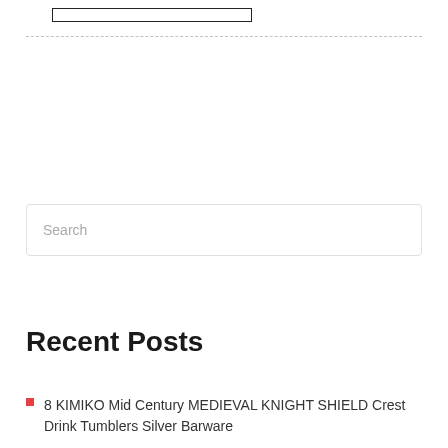[Figure (other): A rectangular box outline near the top of the page]
Search
Recent Posts
8 KIMIKO Mid Century MEDIEVAL KNIGHT SHIELD Crest Drink Tumblers Silver Barware